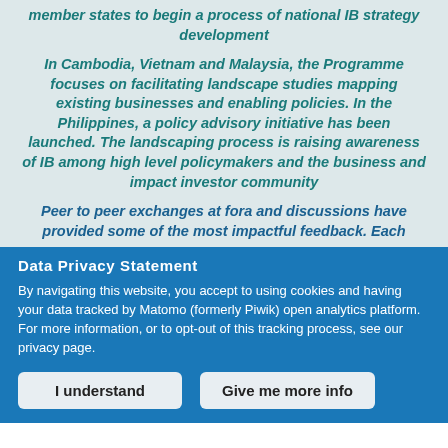member states to begin a process of national IB strategy development
In Cambodia, Vietnam and Malaysia, the Programme focuses on facilitating landscape studies mapping existing businesses and enabling policies. In the Philippines, a policy advisory initiative has been launched. The landscaping process is raising awareness of IB among high level policymakers and the business and impact investor community
Peer to peer exchanges at fora and discussions have provided some of the most impactful feedback. Each
Data Privacy Statement
By navigating this website, you accept to using cookies and having your data tracked by Matomo (formerly Piwik) open analytics platform. For more information, or to opt-out of this tracking process, see our privacy page.
I understand
Give me more info